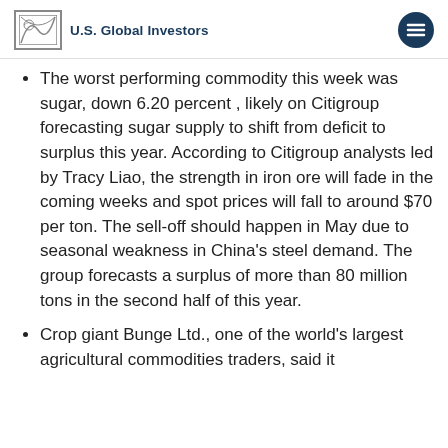U.S. Global Investors
The worst performing commodity this week was sugar, down 6.20 percent , likely on Citigroup forecasting sugar supply to shift from deficit to surplus this year. According to Citigroup analysts led by Tracy Liao, the strength in iron ore will fade in the coming weeks and spot prices will fall to around $70 per ton. The sell-off should happen in May due to seasonal weakness in China’s steel demand. The group forecasts a surplus of more than 80 million tons in the second half of this year.
Crop giant Bunge Ltd., one of the world’s largest agricultural commodities traders, said it